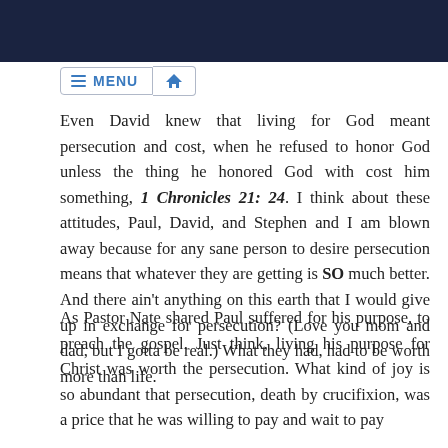[Figure (screenshot): Dark navy header banner at the top of the page]
≡ MENU 🏠
Even David knew that living for God meant persecution and cost, when he refused to honor God unless the thing he honored God with cost him something, 1 Chronicles 21: 24. I think about these attitudes, Paul, David, and Stephen and I am blown away because for any sane person to desire persecution means that whatever they are getting is SO much better. And there ain't anything on this earth that I would give up in exchange for persecution? (Love you mom and dad, but I gotta be real.) What they had, had to be worth more than life.
As Pastor Nate shared Paul suffered for his purpose, to preach the gospel. Just think, living his purpose for Christ was worth the persecution. What kind of joy is so abundant that persecution, death by crucifixion, was a price that he was willing to pay and wait to pay